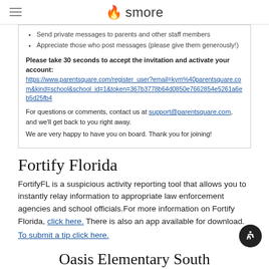smore
Send private messages to parents and other staff members
Appreciate those who post messages (please give them generously!)
Please take 30 seconds to accept the invitation and activate your account: https://www.parentsquare.com/register_user?email=kym%40parentsquare.com&kind=school&school_id=1&token=367b3778b64d0850e7662854e5261a6eb5d25fb4
For questions or comments, contact us at support@parentsquare.com, and we'll get back to you right away.
We are very happy to have you on board. Thank you for joining!
Fortify Florida
FortifyFL is a suspicious activity reporting tool that allows you to instantly relay information to appropriate law enforcement agencies and school officials.For more information on Fortify Florida, click here. There is also an app available for download. To submit a tip click here.
Oasis Elementary South